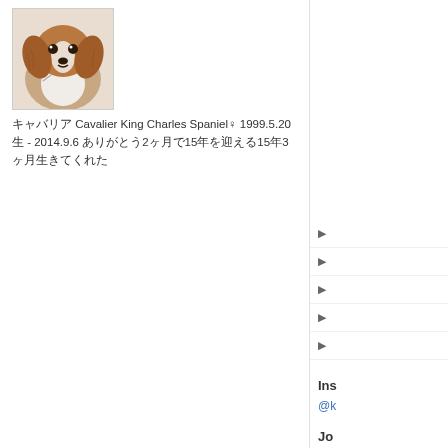[Figure (photo): Photo of a Cavalier King Charles Spaniel dog, brown and white coloring, facing camera]
キャバリア Cavalier King Charles Spaniel♀ 1999.5.20生 - 2014.9.6 ありがとう2ヶ月で15年を迎える15年3ヶ月生きてくれた
▶
▶
▶
▶
▶
Ins
@k
Jo
S